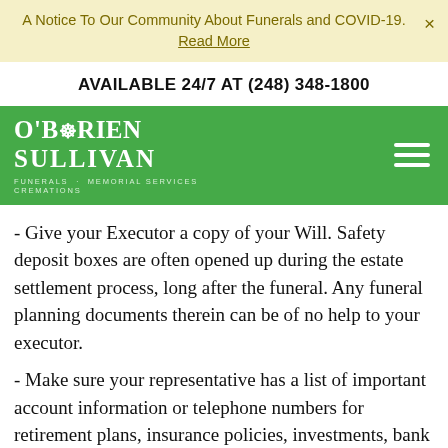A Notice To Our Community About Funerals and COVID-19. Read More
AVAILABLE 24/7 AT (248) 348-1800
[Figure (logo): O'Brien Sullivan Funerals, Memorial Services, Cremations logo in white on green background with hamburger menu icon]
- Give your Executor a copy of your Will. Safety deposit boxes are often opened up during the estate settlement process, long after the funeral. Any funeral planning documents therein can be of no help to your executor.
- Make sure your representative has a list of important account information or telephone numbers for retirement plans, insurance policies, investments, bank accounts, safe-deposit boxes, properties, preferred law and accountant firms and mortuaries. Remind your personal representative that the Social Security